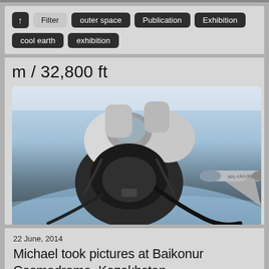↑ Filter outer space Publication Exhibition cool earth exhibition
m / 32,800 ft
[Figure (photo): High-altitude photo showing a person in a pressure suit/spacesuit viewed from below against the curvature of the Earth with a jet aircraft visible on the right side]
22 June, 2014
Michael took pictures at Baikonur Cosmodrome, Kazakhstan